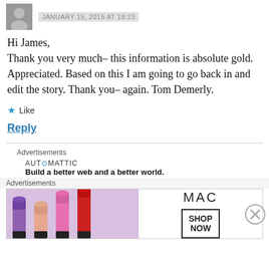tomdemerly — JANUARY 15, 2015 AT 18:23
Hi James,
Thank you very much– this information is absolute gold. Appreciated. Based on this I am going to go back in and edit the story. Thank you– again. Tom Demerly.
★ Like
Reply
Advertisements
AUT⊙MATTIC
Build a better web and a better world.
Advertisements
[Figure (photo): MAC Cosmetics advertisement showing lipsticks with SHOP NOW button]